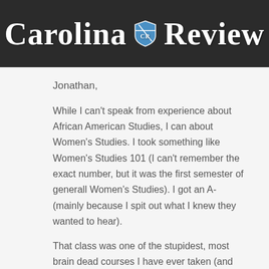Carolina Review
Jonathan,
While I can't speak from experience about African American Studies, I can about Women's Studies. I took something like Women's Studies 101 (I can't remember the exact number, but it was the first semester of generall Women's Studies). I got an A- (mainly because I spit out what I knew they wanted to hear).
That class was one of the stupidest, most brain dead courses I have ever taken (and that counts elementary, middle, and high school courses). I was mainly shocked at the worldview that the course promoted. And, of course, this worldview is completely